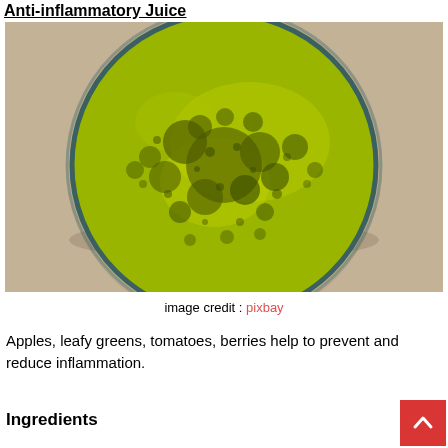Anti-inflammatory Juice
[Figure (photo): Top-down view of a glass of green juice (anti-inflammatory juice) with frothy yellow-green surface and dark bubble spots, on a tan/beige surface.]
image credit : pixbay
Apples, leafy greens, tomatoes, berries help to prevent and reduce inflammation.
Ingredients